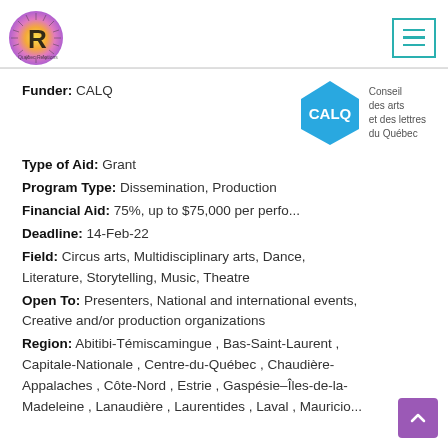Québec Relations – navigation header with logo and menu button
Funder: CALQ
[Figure (logo): CALQ logo – blue diamond shape with white CALQ text, beside 'Conseil des arts et des lettres du Québec']
Type of Aid: Grant
Program Type: Dissemination, Production
Financial Aid: 75%, up to $75,000 per perfo...
Deadline: 14-Feb-22
Field: Circus arts, Multidisciplinary arts, Dance, Literature, Storytelling, Music, Theatre
Open To: Presenters, National and international events, Creative and/or production organizations
Region: Abitibi-Témiscamingue , Bas-Saint-Laurent , Capitale-Nationale , Centre-du-Québec , Chaudière-Appalaches , Côte-Nord , Estrie , Gaspésie–Îles-de-la-Madeleine , Lanaudière , Laurentides , Laval , Mauricio...